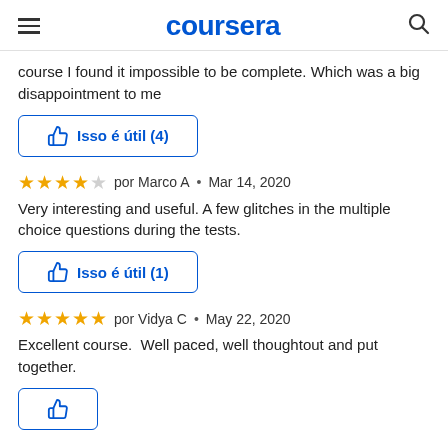coursera
course I found it impossible to be complete. Which was a big disappointment to me
Isso é útil (4)
por Marco A • Mar 14, 2020
Very interesting and useful. A few glitches in the multiple choice questions during the tests.
Isso é útil (1)
por Vidya C • May 22, 2020
Excellent course.  Well paced, well thoughtout and put together.